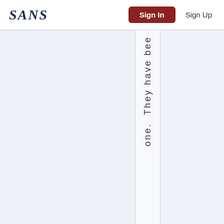SANS | Sign In | Sign Up
one. They have bee